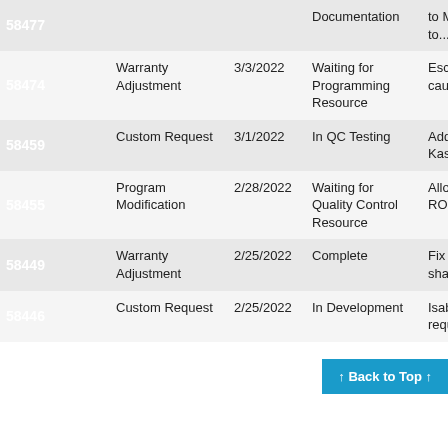| ID | Type | Date | Status | Description |
| --- | --- | --- | --- | --- |
| 58477 |  |  | Documentation | to MW_LO table to... |
| 58474 | Warranty Adjustment | 3/3/2022 | Waiting for Programming Resource | Escrow through causing... |
| 58459 | Custom Request | 3/1/2022 | In QC Testing | Add the the listi Kasasa... |
| 58455 | Program Modification | 2/28/2022 | Waiting for Quality Control Resource | Allow C creation ROBOT... |
| 58449 | Warranty Adjustment | 2/25/2022 | Complete | Fix to " unched shared and co-... |
| 58446 | Custom Request | 2/25/2022 | In Development | Isabella Union i... require... |